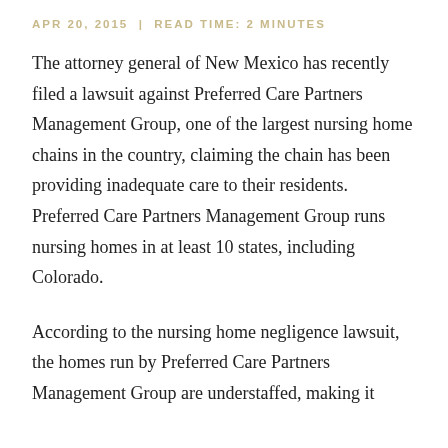APR 20, 2015 | READ TIME: 2 MINUTES
The attorney general of New Mexico has recently filed a lawsuit against Preferred Care Partners Management Group, one of the largest nursing home chains in the country, claiming the chain has been providing inadequate care to their residents. Preferred Care Partners Management Group runs nursing homes in at least 10 states, including Colorado.
According to the nursing home negligence lawsuit, the homes run by Preferred Care Partners Management Group are understaffed, making it